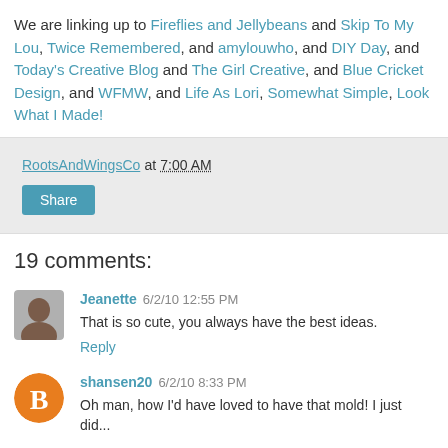We are linking up to Fireflies and Jellybeans and Skip To My Lou, Twice Remembered, and amylouwho, and DIY Day, and Today's Creative Blog and The Girl Creative, and Blue Cricket Design, and WFMW, and Life As Lori, Somewhat Simple, Look What I Made!
RootsAndWingsCo at 7:00 AM
Share
19 comments:
Jeanette 6/2/10 12:55 PM
That is so cute, you always have the best ideas.
Reply
shansen20 6/2/10 8:33 PM
Oh man, how I'd have loved to have that mold! I just did...